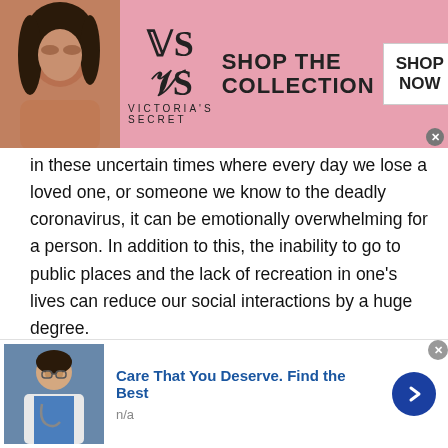[Figure (photo): Victoria's Secret advertisement banner with woman model on left, brand logo and 'SHOP THE COLLECTION' text, and 'SHOP NOW' button on right]
in these uncertain times where every day we lose a loved one, or someone we know to the deadly coronavirus, it can be emotionally overwhelming for a person. In addition to this, the inability to go to public places and the lack of recreation in one's lives can reduce our social interactions by a huge degree.
Studies suggest people have developed increasing feelings of loneliness, abandonment, and fear because of the limited social interaction. Dating , making friends, establishing new connections, in fact all social interactions
[Figure (photo): Bottom advertisement: doctor/medical professional image with text 'Care That You Deserve. Find the Best' and 'n/a' subtitle, with blue arrow button]